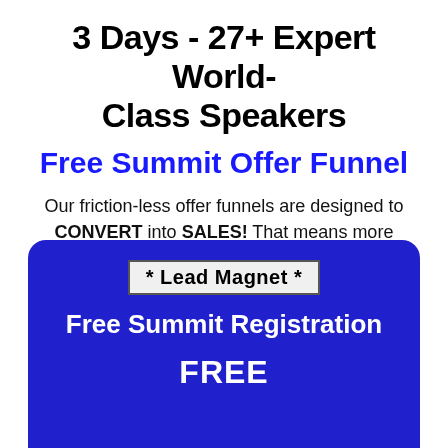3 Days - 27+  Expert World-Class Speakers
Free Summit Offer Funnel
Our friction-less offer funnels are designed to CONVERT into SALES!  That means more commissions for you.
* Lead Magnet *
Free Summit Registration
FREE